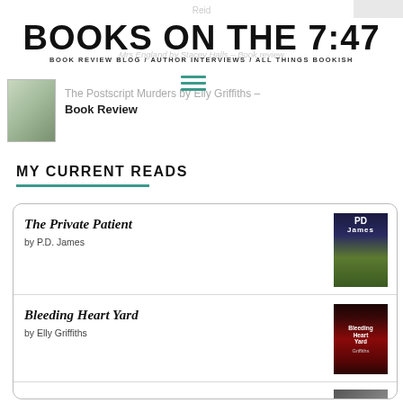BOOKS ON THE 7:47
BOOK REVIEW BLOG / AUTHOR INTERVIEWS / ALL THINGS BOOKISH
[Figure (other): Hamburger menu icon with three teal/green horizontal lines]
The Postscript Murders by Elly Griffiths - Book Review
[Figure (photo): Small thumbnail image of a book cover on the left side]
MY CURRENT READS
The Private Patient by P.D. James
Bleeding Heart Yard by Elly Griffiths